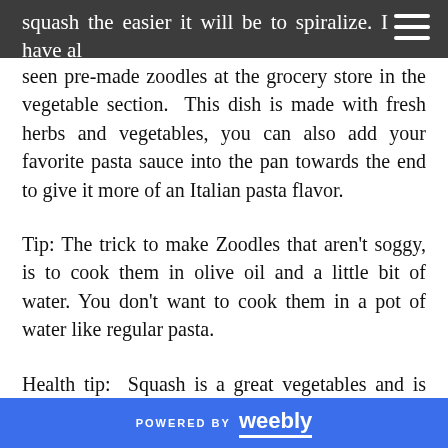squash the easier it will be to spiralize.  I have also seen pre-made zoodles at the grocery store in the vegetable section.
seen pre-made zoodles at the grocery store in the vegetable section.  This dish is made with fresh herbs and vegetables, you can also add your favorite pasta sauce into the pan towards the end to give it more of an Italian pasta flavor.
Tip: The trick to make Zoodles that aren't soggy, is to cook them in olive oil and a little bit of water.  You don't want to cook them in a pot of water like regular pasta.
Health tip:  Squash is a great vegetables and is full of vitamin A which is good for skin, immune system, health, and eyes.  Carrots are also full of
POWERED BY weebly